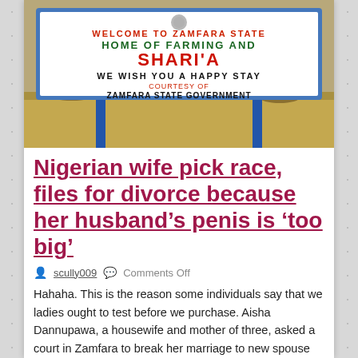[Figure (photo): A roadside welcome sign reading: WELCOME TO ZAMFARA STATE HOME OF FARMING AND SHARI'A WE WISH YOU A HAPPY STAY COURTESY OF ZAMFARA STATE GOVERNMENT. The sign has a blue border, the text is in green and red on white background, with a Nigerian coat of arms at the top. Blue metal posts support the sign. Brown/dry landscape in background.]
Nigerian wife pick race, files for divorce because her husband’s penis is ‘too big’
scully009    Comments Off
Hahaha. This is the reason some individuals say that we ladies ought to test before we purchase. Aisha Dannupawa, a housewife and mother of three, asked a court in Zamfara to break her marriage to new spouse Ali Maizinari after only ...